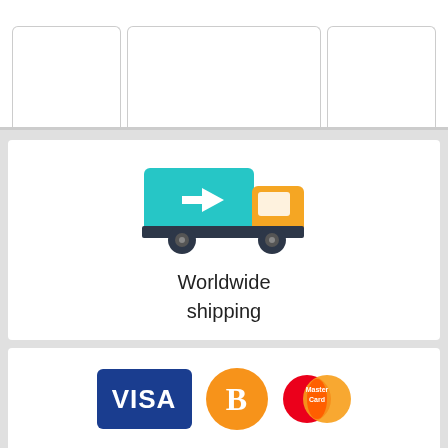[Figure (illustration): Top section with partial tab navigation bar showing three tabs with rounded tops and a border at bottom]
[Figure (illustration): Delivery truck icon - teal/green truck body with orange cab and white arrow pointing right, dark wheels]
Worldwide shipping
[Figure (illustration): Payment icons: Visa blue rectangle logo, Bitcoin orange circle logo, Mastercard red and orange overlapping circles logo]
Visa/Mastercard/ Cryptocurrency
[Figure (illustration): Safe & Secure badge with padlock icon partially visible at bottom]